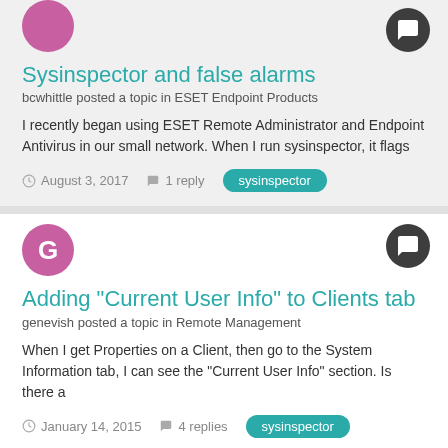Sysinspector and false alarms
bcwhittle posted a topic in ESET Endpoint Products
I recently began using ESET Remote Administrator and Endpoint Antivirus in our small network. When I run sysinspector, it flags
August 3, 2017    1 reply    sysinspector
Adding "Current User Info" to Clients tab
genevish posted a topic in Remote Management
When I get Properties on a Client, then go to the System Information tab, I can see the "Current User Info" section. Is there a
January 14, 2015    4 replies    sysinspector